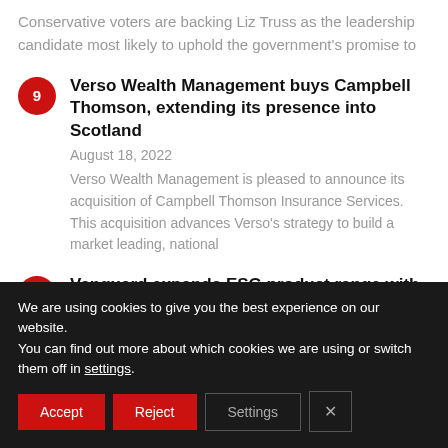Conservative voters are backing Liz Truss as the leadership candidate most likely to uphold the government's promise to
9 — Verso Wealth Management buys Campbell Thomson, extending its presence into Scotland — August 18, 2022 — Verso Wealth Management is pleased to announce its acquisition of Campbell Thomson Insurance Services. This acquisition advances Verso's strategy to build a market leading, national
10 — Vanguard expands ESG product range with two new ESG ETFs — August 18, 2022
We are using cookies to give you the best experience on our website.
You can find out more about which cookies we are using or switch them off in settings.